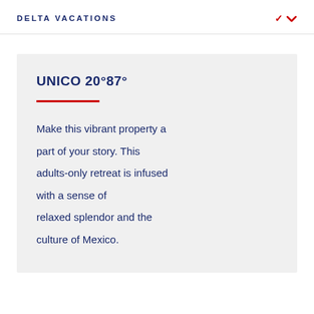DELTA VACATIONS
UNICO 20°87°
Make this vibrant property a part of your story. This adults-only retreat is infused with a sense of relaxed splendor and the culture of Mexico.